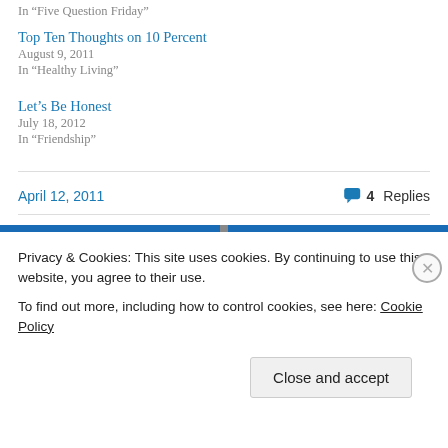In “Five Question Friday”
Top Ten Thoughts on 10 Percent
August 9, 2011
In “Healthy Living”
Let’s Be Honest
July 18, 2012
In “Friendship”
April 12, 2011
4 Replies
Privacy & Cookies: This site uses cookies. By continuing to use this website, you agree to their use.
To find out more, including how to control cookies, see here: Cookie Policy
Close and accept